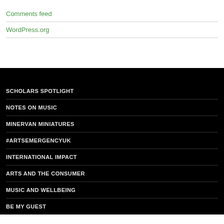Comments feed
WordPress.org
SCHOLARS SPOTLIGHT
NOTES ON MUSIC
MINERVAN MINIATURES
#ARTSEMERGENCYUK
INTERNATIONAL IMPACT
ARTS AND THE CONSUMER
MUSIC AND WELLBEING
BE MY GUEST